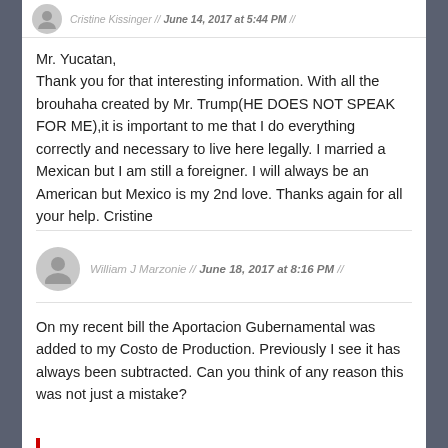Cristine Kissinger // June 14, 2017 at 5:44 PM //
Mr. Yucatan,
Thank you for that interesting information. With all the brouhaha created by Mr. Trump(HE DOES NOT SPEAK FOR ME),it is important to me that I do everything correctly and necessary to live here legally. I married a Mexican but I am still a foreigner. I will always be an American but Mexico is my 2nd love. Thanks again for all your help. Cristine
William J Marzonie // June 18, 2017 at 8:16 PM //
On my recent bill the Aportacion Gubernamental was added to my Costo de Production. Previously I see it has always been subtracted. Can you think of any reason this was not just a mistake?